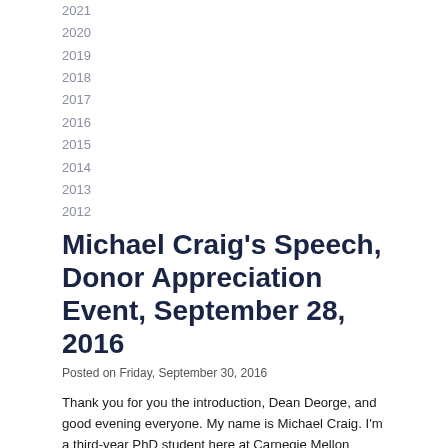2021
2020
2019
2018
2017
2016
2015
2014
2013
2012
Michael Craig's Speech, Donor Appreciation Event, September 28, 2016
Posted on Friday, September 30, 2016
Thank you for you the introduction, Dean Deorge, and good evening everyone. My name is Michael Craig. I'm a third-year PhD student here at Carnegie Mellon University in the Engineering and Public Policy Department, which embodies the interdisciplinary spirit of CMU that Dean Deorge talked about. The reason I came to CMU was to work on climate change. I won't bore you with a litany of statistics, but let